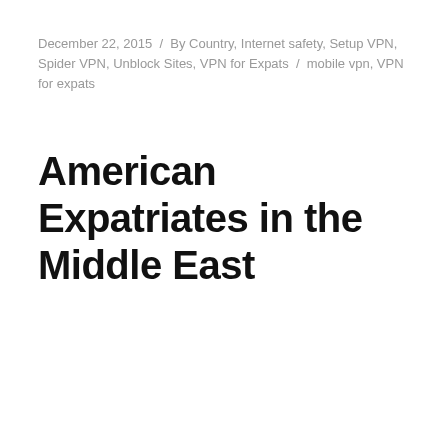December 22, 2015 / By Country, Internet safety, Setup VPN, Spider VPN, Unblock Sites, VPN for Expats / mobile vpn, VPN for expats
American Expatriates in the Middle East